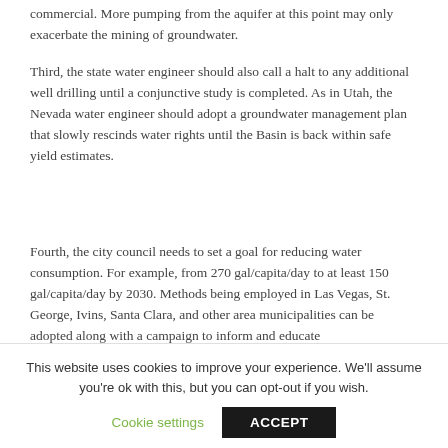commercial. More pumping from the aquifer at this point may only exacerbate the mining of groundwater.
Third, the state water engineer should also call a halt to any additional well drilling until a conjunctive study is completed. As in Utah, the Nevada water engineer should adopt a groundwater management plan that slowly rescinds water rights until the Basin is back within safe yield estimates.
Fourth, the city council needs to set a goal for reducing water consumption. For example, from 270 gal/capita/day to at least 150 gal/capita/day by 2030. Methods being employed in Las Vegas, St. George, Ivins, Santa Clara, and other area municipalities can be adopted along with a campaign to inform and educate
This website uses cookies to improve your experience. We'll assume you're ok with this, but you can opt-out if you wish.
Cookie settings
ACCEPT